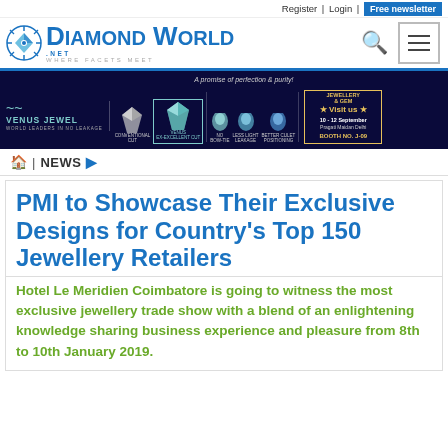Register | Login | Free newsletter
[Figure (logo): Diamond World logo with diamond icon, site name and tagline WHERE FACETS MEET]
[Figure (infographic): Venus Jewel advertisement banner showing diamond cut comparisons (Conventional Cut vs Venus Ex-Excellent Cut) with gem images and event details: Jewellery & Gem, 10-12 September, Pragati Maidan Delhi, Booth No. J-09. Tagline: A promise of perfection & purity!]
NEWS
PMI to Showcase Their Exclusive Designs for Country's Top 150 Jewellery Retailers
Hotel Le Meridien Coimbatore is going to witness the most exclusive jewellery trade show with a blend of an enlightening knowledge sharing business experience and pleasure from 8th to 10th January 2019.